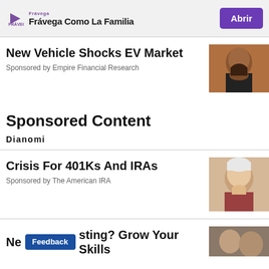[Figure (infographic): Frávega advertisement banner with logo, tagline 'Frávega Como La Familia' and 'Abrir' button]
New Vehicle Shocks EV Market
Sponsored by Empire Financial Research
[Figure (photo): Photo of a bearded man with dark background]
Sponsored Content
Dianomi
Crisis For 401Ks And IRAs
Sponsored by The American IRA
[Figure (photo): Photo of an elderly woman resting her chin on her hand]
Ne...sting? Grow Your Skills
[Figure (photo): Partial photo on bottom right]
Feedback